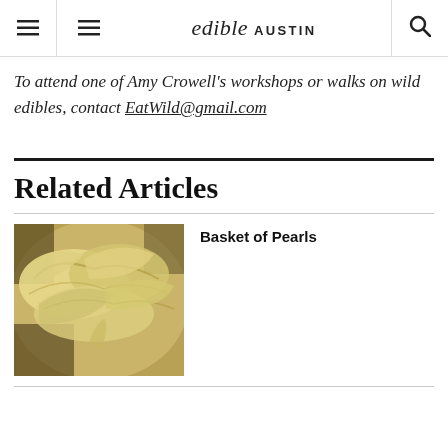edible AUSTIN
To attend one of Amy Crowell's workshops or walks on wild edibles, contact EatWild@gmail.com
Related Articles
[Figure (photo): Close-up photo of pale yellow oyster mushrooms clustered together]
Basket of Pearls